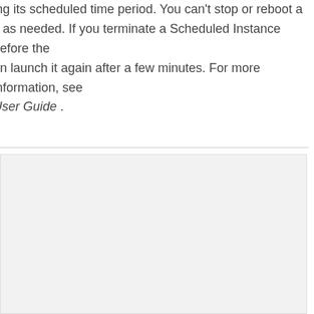ing its scheduled time period. You can't stop or reboot a it as needed. If you terminate a Scheduled Instance before the an launch it again after a few minutes. For more information, see User Guide .
[Figure (other): A light gray rectangular box, likely a screenshot placeholder or image area, below a horizontal divider line.]